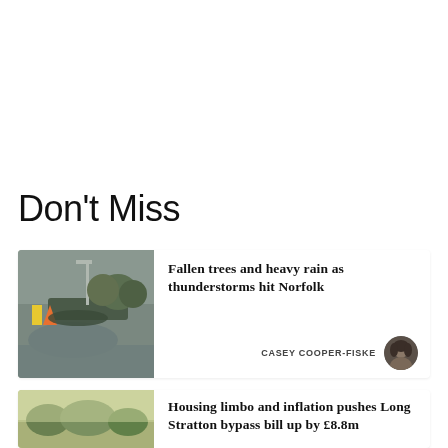Don't Miss
[Figure (photo): A road with fallen tree debris, wet pavement, overcast sky, street lamp visible, orange and yellow road signs.]
Fallen trees and heavy rain as thunderstorms hit Norfolk
CASEY COOPER-FISKE
[Figure (photo): Aerial or distant view of green landscape, trees and fields, yellowish-green tones.]
Housing limbo and inflation pushes Long Stratton bypass bill up by £8.8m